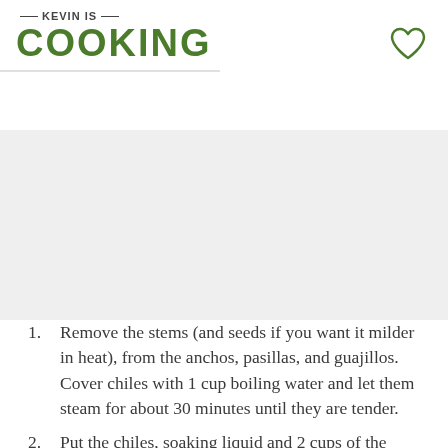KEVIN IS COOKING
[Figure (photo): Food photo placeholder area (grey background representing a recipe image)]
Remove the stems (and seeds if you want it milder in heat), from the anchos, pasillas, and guajillos. Cover chiles with 1 cup boiling water and let them steam for about 30 minutes until they are tender.
Put the chiles, soaking liquid and 2 cups of the chicken stock, garlic, onion, jalapeño chimayo chili powder, cumin and Mexican oregano (cayenne is optional for more heat)